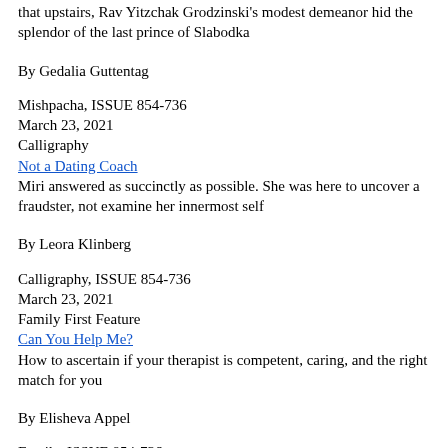that upstairs, Rav Yitzchak Grodzinski's modest demeanor hid the splendor of the last prince of Slabodka
By Gedalia Guttentag
Mishpacha, ISSUE 854-736
March 23, 2021
Calligraphy
Not a Dating Coach
Miri answered as succinctly as possible. She was here to uncover a fraudster, not examine her innermost self
By Leora Klinberg
Calligraphy, ISSUE 854-736
March 23, 2021
Family First Feature
Can You Help Me?
How to ascertain if your therapist is competent, caring, and the right match for you
By Elisheva Appel
Family, ISSUE 854-736